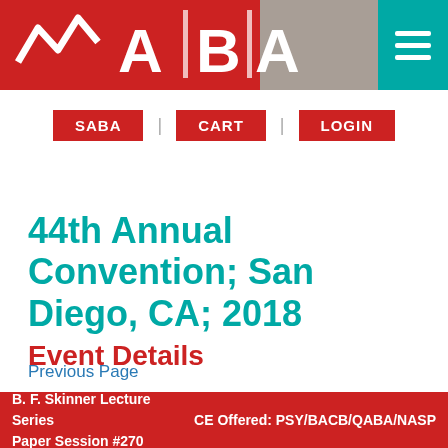[Figure (logo): ABAI organization logo with red background and white text, followed by navigation hamburger menu on teal background]
SABA | CART | LOGIN
44th Annual Convention; San Diego, CA; 2018
Event Details
Previous Page
B. F. Skinner Lecture Series
Paper Session #270
CE Offered: PSY/BACB/QABA/NASP